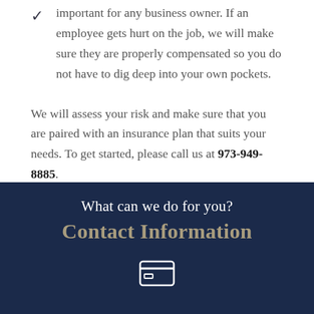important for any business owner. If an employee gets hurt on the job, we will make sure they are properly compensated so you do not have to dig deep into your own pockets.
We will assess your risk and make sure that you are paired with an insurance plan that suits your needs. To get started, please call us at 973-949-8885.
What can we do for you?
Contact Information
[Figure (illustration): A small white icon of a credit card or envelope at the bottom of the dark navy section.]